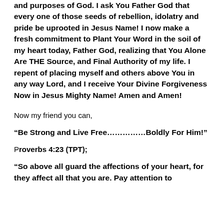and purposes of God. I ask You Father God that every one of those seeds of rebellion, idolatry and pride be uprooted in Jesus Name! I now make a fresh commitment to Plant Your Word in the soil of my heart today, Father God, realizing that You Alone Are THE Source, and Final Authority of my life. I repent of placing myself and others above You in any way Lord, and I receive Your Divine Forgiveness Now in Jesus Mighty Name! Amen and Amen!
Now my friend you can,
“Be Strong and Live Free……………Boldly For Him!”
Proverbs 4:23 (TPT);
“So above all guard the affections of your heart, for they affect all that you are. Pay attention to